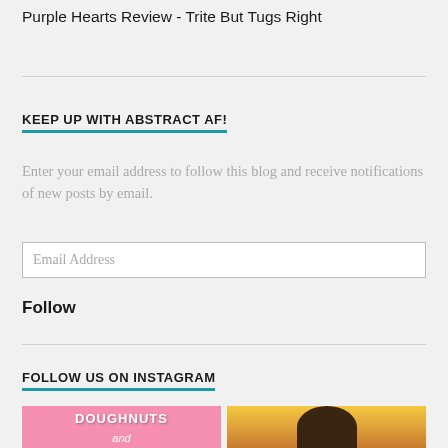Purple Hearts Review - Trite But Tugs Right
KEEP UP WITH ABSTRACT AF!
Enter your email address to follow this blog and receive notifications of new posts by email.
Email Address
Follow
FOLLOW US ON INSTAGRAM
[Figure (photo): Pink background image with text 'DOUGHNUTS and...' in white stylized letters]
[Figure (photo): Warm golden-toned photo with a silhouetted figure or shape against a bright background]